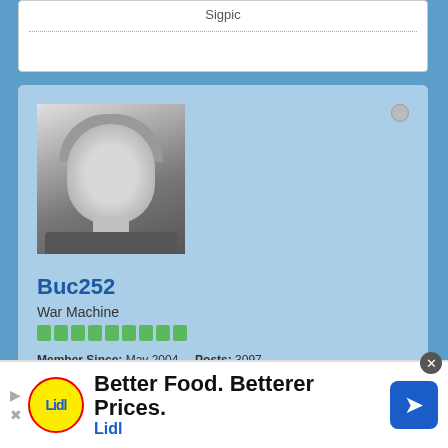Sigpic
[Figure (photo): Black and white profile photo of a smiling man with gray/white hair]
Buc252
War Machine
Member Since: May 2004   Posts: 3097
02 April 2009, 06:59 PM
#564
Originally posted by VSS
I, for one, never thought you sounded negative
[Figure (advertisement): Lidl advertisement banner: Better Food. Betterer Prices. Lidl]